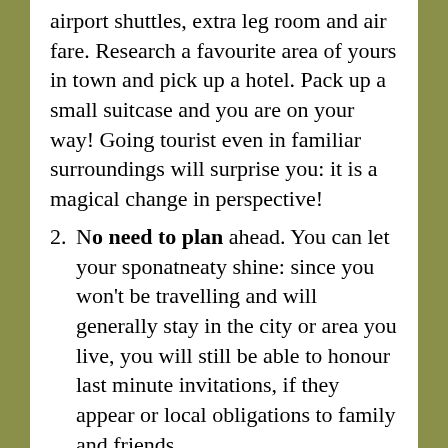airport shuttles, extra leg room and air fare. Research a favourite area of yours in town and pick up a hotel. Pack up a small suitcase and you are on your way! Going tourist even in familiar surroundings will surprise you: it is a magical change in perspective!
No need to plan ahead. You can let your sponatneaty shine: since you won't be travelling and will generally stay in the city or area you live, you will still be able to honour last minute invitations, if they appear or local obligations to family and friends.
Getting a last minute get-away in your own city can be quite cheaper than going away on a full-fledged vacation at a far away destination. Except the obvious savings from